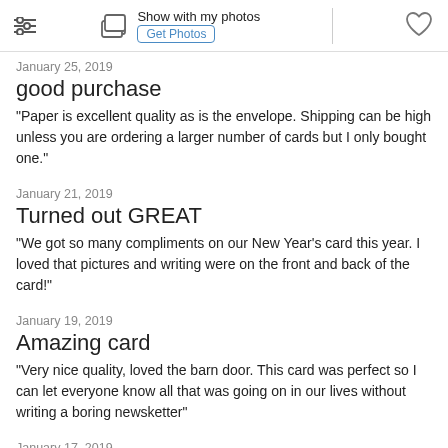Show with my photos | Get Photos
January 25, 2019
good purchase
"Paper is excellent quality as is the envelope. Shipping can be high unless you are ordering a larger number of cards but I only bought one."
January 21, 2019
Turned out GREAT
"We got so many compliments on our New Year's card this year. I loved that pictures and writing were on the front and back of the card!"
January 19, 2019
Amazing card
"Very nice quality, loved the barn door. This card was perfect so I can let everyone know all that was going on in our lives without writing a boring newsketter"
January 17, 2019